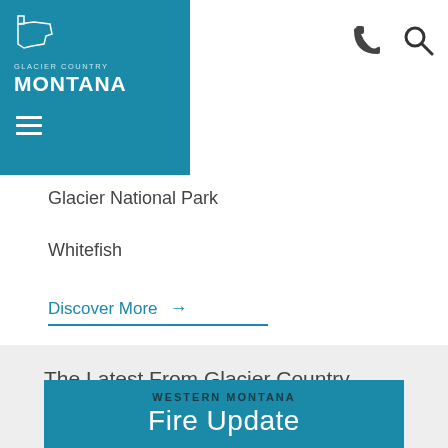[Figure (logo): Glacier Country Montana logo - white text on teal/blue background with Montana state shape outline and hamburger menu icon]
[Figure (other): Phone icon and search/magnify icon in top right of header]
Glacier National Park
Whitefish
Discover More →
The Latest From Glacier Country
[Figure (other): Blue teal card with text: WESTERN MONTANA (bold dark) and Fire Update (large white text)]